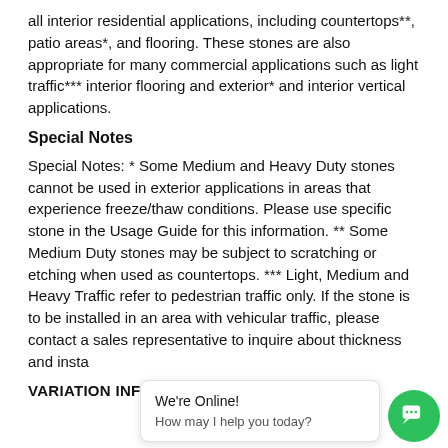all interior residential applications, including countertops**, patio areas*, and flooring. These stones are also appropriate for many commercial applications such as light traffic*** interior flooring and exterior* and interior vertical applications.
Special Notes
Special Notes: * Some Medium and Heavy Duty stones cannot be used in exterior applications in areas that experience freeze/thaw conditions. Please use specific stone in the Usage Guide for this information. ** Some Medium Duty stones may be subject to scratching or etching when used as countertops. *** Light, Medium and Heavy Traffic refer to pedestrian traffic only. If the stone is to be installed in an area with vehicular traffic, please contact a sales representative to inquire about thickness and installation requirements.
VARIATION INFORMATION